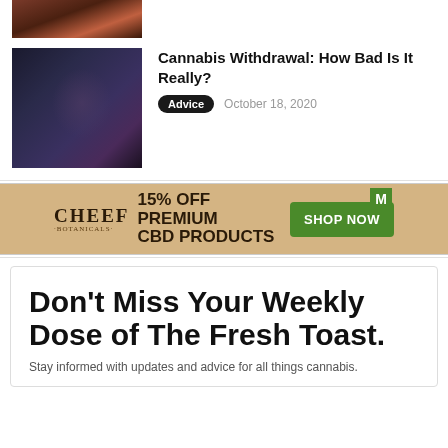[Figure (photo): Partial dark photo at top of page, appears to be an outdoor/night scene]
[Figure (photo): Woman sitting in dark moody setting, appears to be smoking]
Cannabis Withdrawal: How Bad Is It Really?
Advice   October 18, 2020
[Figure (infographic): Cheef Botanicals advertisement banner: 15% OFF PREMIUM CBD PRODUCTS - SHOP NOW]
Don't Miss Your Weekly Dose of The Fresh Toast.
Stay informed with updates and advice for all things cannabis.